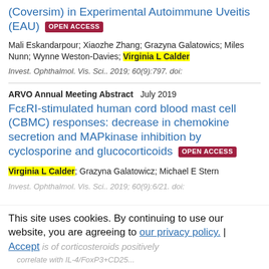(Coversim) in Experimental Autoimmune Uveitis (EAU) [OPEN ACCESS]
Mali Eskandarpour; Xiaozhe Zhang; Grazyna Galatowics; Miles Nunn; Wynne Weston-Davies; Virginia L Calder
Invest. Ophthalmol. Vis. Sci.. 2019; 60(9):797. doi:
ARVO Annual Meeting Abstract   July 2019
FcεRI-stimulated human cord blood mast cell (CBMC) responses: decrease in chemokine secretion and MAPkinase inhibition by cyclosporine and glucocorticoids [OPEN ACCESS]
Virginia L Calder; Grazyna Galatowicz; Michael E Stern
Invest. Ophthalmol. Vis. Sci.. 2019; 60(9):6/21. doi:
This site uses cookies. By continuing to use our website, you are agreeing to our privacy policy. Accept
is of corticosteroids positively correlate with IL-4/FoxP3+CD25...